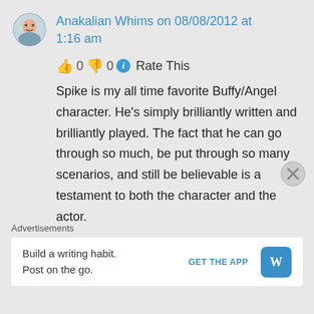Anakalian Whims on 08/08/2012 at 1:16 am
👍 0 👎 0 ℹ Rate This
Spike is my all time favorite Buffy/Angel character. He's simply brilliantly written and brilliantly played. The fact that he can go through so much, be put through so many scenarios, and still be believable is a testament to both the character and the actor.
Advertisements
Build a writing habit. Post on the go. GET THE APP